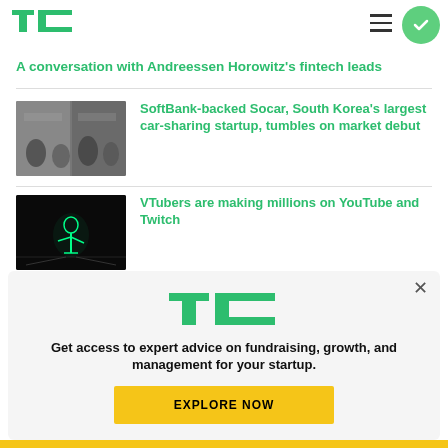TechCrunch
A conversation with Andreessen Horowitz's fintech leads
[Figure (photo): Office scene with people sitting at desks, Socar logo visible in background windows]
SoftBank-backed Socar, South Korea's largest car-sharing startup, tumbles on market debut
[Figure (photo): Dark stage with a performer in glowing outfit, VTuber performance]
VTubers are making millions on YouTube and Twitch
[Figure (logo): TechCrunch TC+ logo]
Get access to expert advice on fundraising, growth, and management for your startup.
EXPLORE NOW